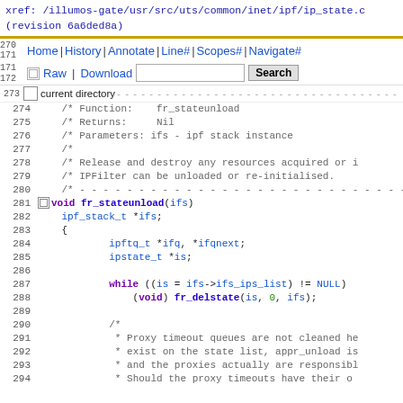xref: /illumos-gate/usr/src/uts/common/inet/ipf/ip_state.c (revision 6a6ded8a)
[Figure (screenshot): Navigation bar with links: Home, History, Annotate, Line#, Scopes#, Navigate#, Raw, Download, and a Search input and button]
current directory line with dashes
274    /* Function:    fr_stateunload
275    /* Returns:     Nil
276    /* Parameters: ifs - ipf stack instance
277    /*
278    /* Release and destroy any resources acquired or i
279    /* IPFilter can be unloaded or re-initialised.
280    /* ---
281    void fr_stateunload(ifs)
282      ipf_stack_t *ifs;
283    {
284            ipftq_t *ifq, *ifqnext;
285            ipstate_t *is;
286
287            while ((is = ifs->ifs_ips_list) != NULL)
288                (void) fr_delstate(is, 0, ifs);
289
290            /*
291             * Proxy timeout queues are not cleaned he
292             * exist on the state list, appr_unload is
293             * and the proxies actually are responsibl
294             * Should the proxy timeouts have their o